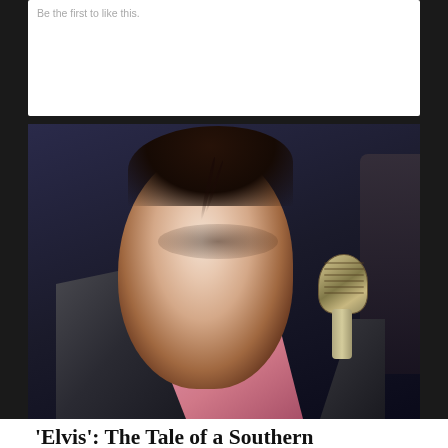Be the first to like this.
[Figure (photo): A young man styled as Elvis Presley with slicked dark hair, wearing a pink and black jacket, singing into a vintage chrome microphone against a dark blue background.]
'Elvis': The Tale of a Southern Country Boy Who Crossed the Racial Divide
Advertisements
[Figure (photo): ULTA Beauty advertisement banner showing makeup products and close-up eye/lip imagery with 'SHOP NOW' text.]